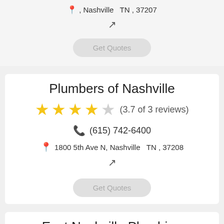, Nashville TN , 37207
↗ (external link)
Get Quotes
Plumbers of Nashville
(3.7 of 3 reviews)
(615) 742-6400
1800 5th Ave N, Nashville TN , 37208
↗ (external link)
Get Quotes
East Nashville Plumbing
(2.3 of 6 reviews)